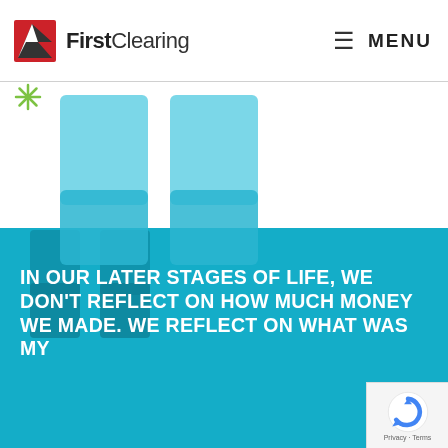[Figure (logo): FirstClearing logo with red/black geometric icon and text 'FirstClearing']
≡ MENU
[Figure (illustration): Small green snowflake/asterisk decorative icon]
[Figure (illustration): Large decorative double quotation marks in teal/cyan, partially overlapping teal background block]
IN OUR LATER STAGES OF LIFE, WE DON'T REFLECT ON HOW MUCH MONEY WE MADE. WE REFLECT ON WHAT WAS MY